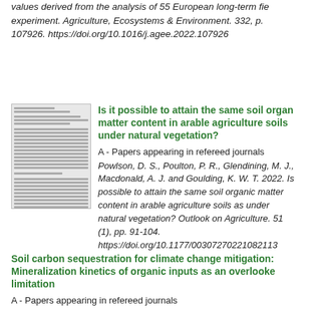values derived from the analysis of 55 European long-term field experiment. Agriculture, Ecosystems & Environment. 332, p. 107926. https://doi.org/10.1016/j.agee.2022.107926
[Figure (other): Thumbnail image of a scientific paper]
Is it possible to attain the same soil organic matter content in arable agriculture soils as under natural vegetation?
A - Papers appearing in refereed journals
Powlson, D. S., Poulton, P. R., Glendining, M. J., Macdonald, A. J. and Goulding, K. W. T. 2022. Is it possible to attain the same soil organic matter content in arable agriculture soils as under natural vegetation? Outlook on Agriculture. 51 (1), pp. 91-104. https://doi.org/10.1177/00307270221082113
Soil carbon sequestration for climate change mitigation: Mineralization kinetics of organic inputs as an overlooked limitation
A - Papers appearing in refereed journals